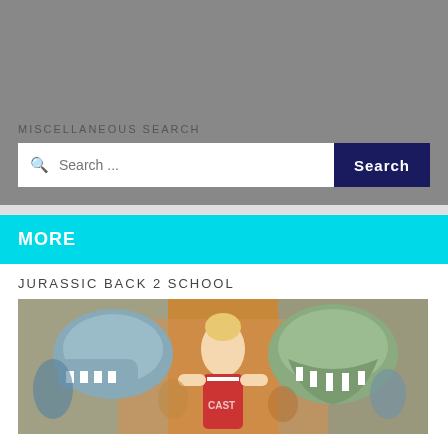MISCELLANEOUS SEARCH
Search ...
Search
MORE
JURASSIC BACK 2 SCHOOL
[Figure (photo): A woman surrounded by people in dinosaur costumes with large open mouths, in a colorful scene.]